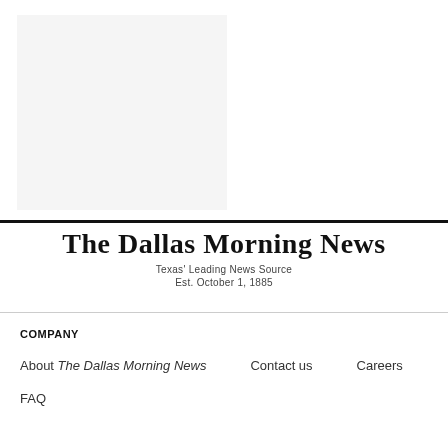[Figure (other): Gray placeholder image box in upper left area of page]
The Dallas Morning News
Texas' Leading News Source
Est. October 1, 1885
COMPANY
About The Dallas Morning News    Contact us    Careers
FAQ